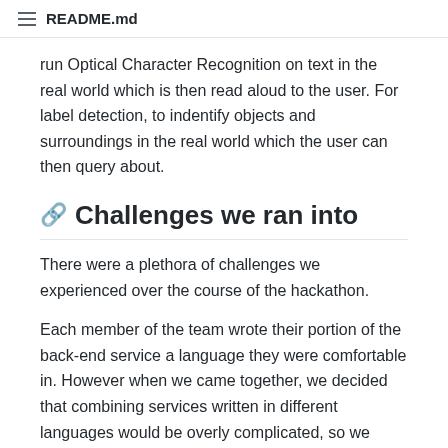README.md
run Optical Character Recognition on text in the real world which is then read aloud to the user. For label detection, to indentify objects and surroundings in the real world which the user can then query about.
Challenges we ran into
There were a plethora of challenges we experienced over the course of the hackathon.
Each member of the team wrote their portion of the back-end service a language they were comfortable in. However when we came together, we decided that combining services written in different languages would be overly complicated, so we decided to rewrite the entire back-end in Go.